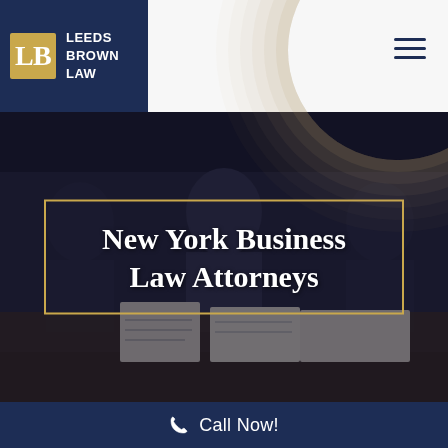[Figure (logo): Leeds Brown Law logo — gold LB monogram icon on dark navy background with company name in white]
[Figure (photo): Hero photograph of attorneys/people reviewing documents at a table in a courtroom or conference setting, dark overlay]
New York Business Law Attorneys
NEW YORK BUSINESS LAW ATTORNEYS AND COMMERCIAL
Call Now!